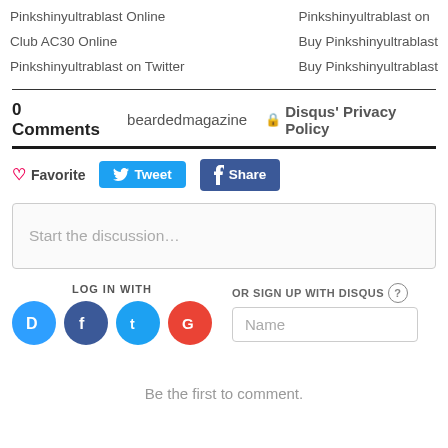Pinkshinyultrablast Online
Club AC30 Online
Pinkshinyultrablast on Twitter
Pinkshinyultrablast on...
Buy Pinkshinyultrablast...
Buy Pinkshinyultrablast...
0 Comments   beardedmagazine   Disqus' Privacy Policy
Favorite  Tweet  Share
Start the discussion…
LOG IN WITH
OR SIGN UP WITH DISQUS
Name
Be the first to comment.